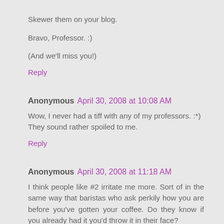Skewer them on your blog.
Bravo, Professor. :)
(And we'll miss you!)
Reply
Anonymous April 30, 2008 at 10:08 AM
Wow, I never had a tiff with any of my professors. :*) They sound rather spoiled to me.
Reply
Anonymous April 30, 2008 at 11:18 AM
I think people like #2 irritate me more. Sort of in the same way that baristas who ask perkily how you are before you've gotten your coffee. Do they know if you already had it you'd throw it in their face?